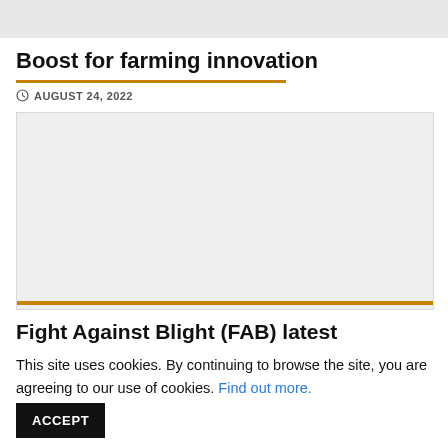[Figure (photo): Top image strip placeholder, light grey background]
Boost for farming innovation
AUGUST 24, 2022
[Figure (photo): Main article image placeholder, light grey background]
Fight Against Blight (FAB) latest
This site uses cookies. By continuing to browse the site, you are agreeing to our use of cookies. Find out more.